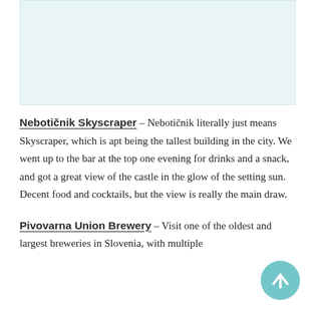[Figure (photo): Image placeholder area at top of page]
Nebotičnik Skyscraper – Nebotičnik literally just means Skyscraper, which is apt being the tallest building in the city. We went up to the bar at the top one evening for drinks and a snack, and got a great view of the castle in the glow of the setting sun. Decent food and cocktails, but the view is really the main draw.
Pivovarna Union Brewery – Visit one of the oldest and largest breweries in Slovenia, with multiple